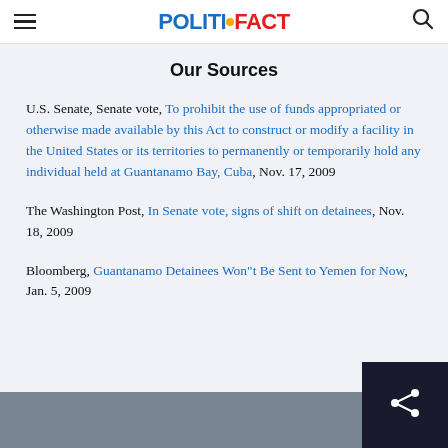POLITIFACT
Our Sources
U.S. Senate, Senate vote, To prohibit the use of funds appropriated or otherwise made available by this Act to construct or modify a facility in the United States or its territories to permanently or temporarily hold any individual held at Guantanamo Bay, Cuba, Nov. 17, 2009
The Washington Post, In Senate vote, signs of shift on detainees, Nov. 18, 2009
Bloomberg, Guantanamo Detainees Won"t Be Sent to Yemen for Now, Jan. 5, 2009